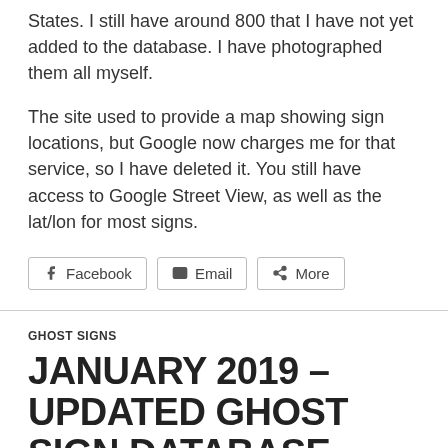States. I still have around 800 that I have not yet added to the database. I have photographed them all myself.
The site used to provide a map showing sign locations, but Google now charges me for that service, so I have deleted it. You still have access to Google Street View, as well as the lat/lon for most signs.
[Figure (other): Social share buttons: Facebook, Email, More]
GHOST SIGNS
JANUARY 2019 – UPDATED GHOST SIGN DATABASE
JANUARY 9, 2019   LEAVE A COMMENT